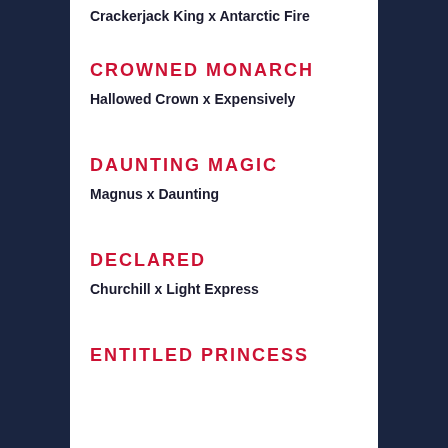Crackerjack King x Antarctic Fire
CROWNED MONARCH
Hallowed Crown x Expensively
DAUNTING MAGIC
Magnus x Daunting
DECLARED
Churchill x Light Express
ENTITLED PRINCESS